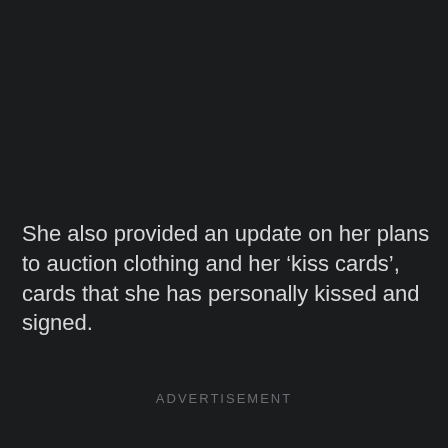She also provided an update on her plans to auction clothing and her ‘kiss cards’, cards that she has personally kissed and signed.
ADVERTISEMENT